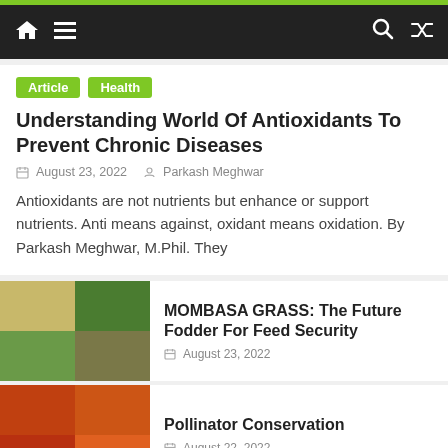Navigation bar with home, menu, search, and shuffle icons
Article   Health
Understanding World Of Antioxidants To Prevent Chronic Diseases
August 23, 2022   Parkash Meghwar
Antioxidants are not nutrients but enhance or support nutrients. Anti means against, oxidant means oxidation. By Parkash Meghwar, M.Phil. They
[Figure (photo): Grid of four images showing mombasa grass: seeds, grass plant, grass stems, and grass texture]
MOMBASA GRASS: The Future Fodder For Feed Security
August 23, 2022
[Figure (photo): Grid of four images showing pollinators: bees and red flowers]
Pollinator Conservation
August 22, 2022